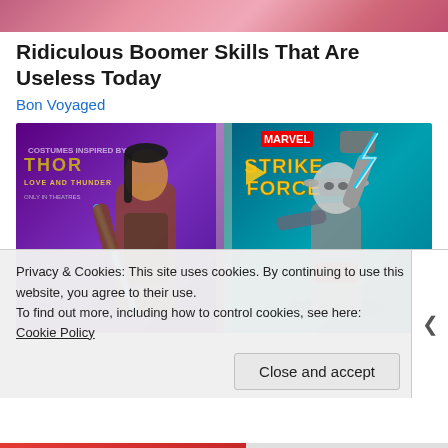[Figure (photo): Top cropped image showing pink/red abstract background, partially visible]
Ridiculous Boomer Skills That Are Useless Today
Bon Voyaged
[Figure (photo): Marvel Thor: Love and Thunder x Marvel Strike Force promotional image showing two female characters: Valkyrie holding a glowing blue sword on a purple background, and Mighty Thor with lightning hammer on a teal background, with game/movie logos]
Privacy & Cookies: This site uses cookies. By continuing to use this website, you agree to their use.
To find out more, including how to control cookies, see here: Cookie Policy
Close and accept